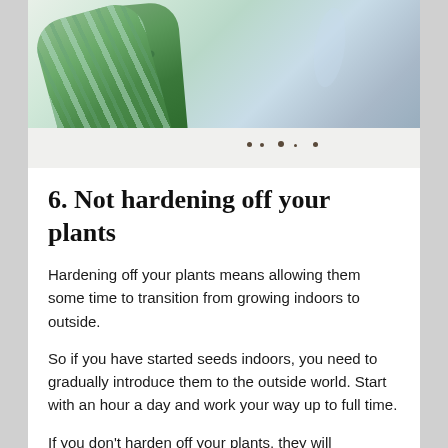[Figure (photo): Gardening gloves in green striped and dotted patterns alongside a blue-grey metal trowel on a white surface with scattered soil]
6. Not hardening off your plants
Hardening off your plants means allowing them some time to transition from growing indoors to outside.
So if you have started seeds indoors, you need to gradually introduce them to the outside world. Start with an hour a day and work your way up to full time.
If you don't harden off your plants, they will